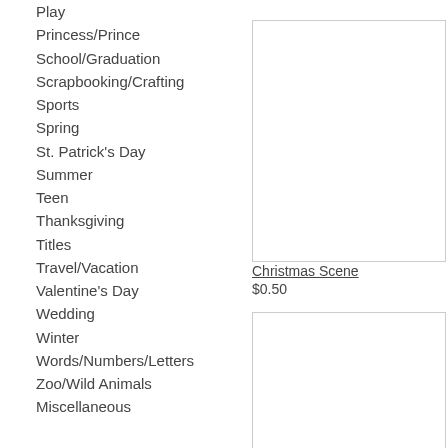Play
Princess/Prince
School/Graduation
Scrapbooking/Crafting
Sports
Spring
St. Patrick's Day
Summer
Teen
Thanksgiving
Titles
Travel/Vacation
Valentine's Day
Wedding
Winter
Words/Numbers/Letters
Zoo/Wild Animals
Miscellaneous
[Figure (photo): Top right image placeholder - Christmas Scene]
Christmas Scene
$0.50
[Figure (photo): Bottom right image placeholder]